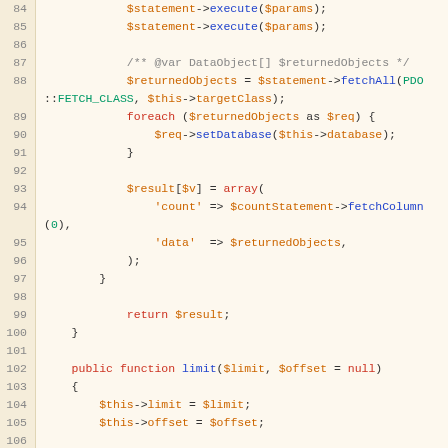[Figure (screenshot): PHP source code editor showing lines 85-107 with syntax highlighting. Code includes database query execution, fetchAll with PDO::FETCH_CLASS, foreach loop, result array building, return statements, and a public function limit() definition.]